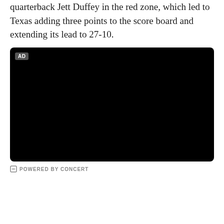quarterback Jett Duffey in the red zone, which led to Texas adding three points to the score board and extending its lead to 27-10.
[Figure (other): Black advertisement video player with 'AD' label in top-left corner, powered by Concert]
POWERED BY CONCERT